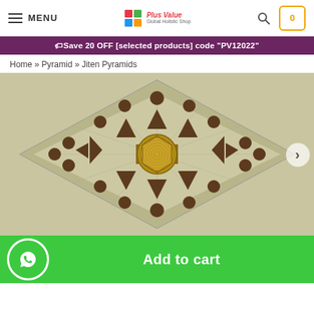MENU | Plus Value (logo) | Search | Cart 0
🏷 Save 20 OFF [selected products] code "PV12022"
Home » Pyramid » Jiten Pyramids
[Figure (photo): Top-down view of a geometric pyramid yantra/mandala device on a square metallic base with triangular and circular copper elements arranged around a central golden disc with radiating lines.]
Add to cart